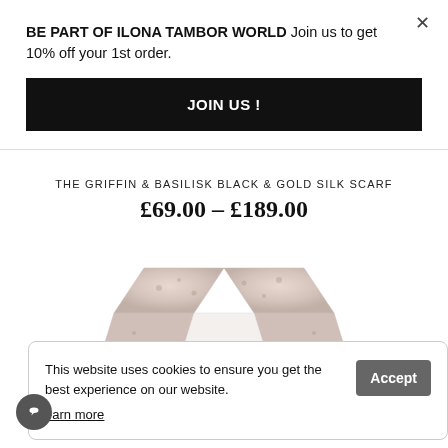BE PART OF ILONA TAMBOR WORLD Join us to get 10% off your 1st order.
JOIN US !
THE GRIFFIN & BASILISK BLACK & GOLD SILK SCARF
£69.00 – £189.00
[Figure (photo): A silk scarf with floral/decorative print shown folded into a hexagonal shape, appearing in soft pinkish-grey tones.]
This website uses cookies to ensure you get the best experience on our website. Learn more
Accept